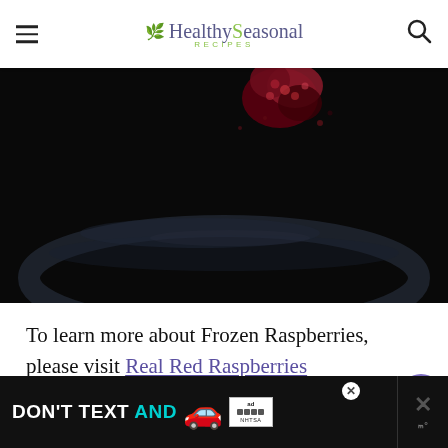Healthy Seasonal Recipes
[Figure (photo): Dark close-up photo of frozen raspberries splashing in liquid against a dark background, with a bowl rim arc visible.]
To learn more about Frozen Raspberries, please visit Real Red Raspberries
[Figure (infographic): Floating action buttons: heart/favorite button with count 872, and share button]
[Figure (infographic): Advertisement banner: DON'T TEXT AND drive safety ad with car emoji, ad badge, and NHTSA logo. Close buttons on right side.]